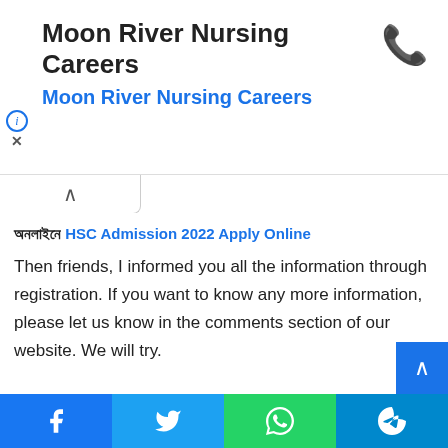[Figure (other): Advertisement banner for Moon River Nursing Careers with phone icon, info icon, and close icon]
Moon River Nursing Careers
Moon River Nursing Careers
অনলাইনে HSC Admission 2022 Apply Online
Then friends, I informed you all the information through registration. If you want to know any more information, please let us know in the comments section of our website. We will try.